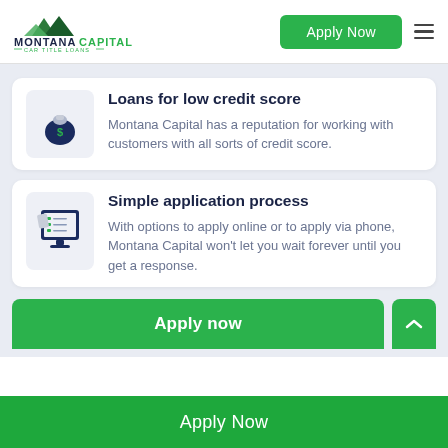[Figure (logo): Montana Capital Car Title Loans logo with green mountain peaks]
[Figure (other): Green Apply Now button in header]
Loans for low credit score
Montana Capital has a reputation for working with customers with all sorts of credit score.
Simple application process
With options to apply online or to apply via phone, Montana Capital won't let you wait forever until you get a response.
[Figure (other): Apply now green button]
[Figure (other): Apply Now green footer bar]